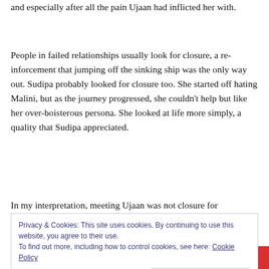and especially after all the pain Ujaan had inflicted her with.
People in failed relationships usually look for closure, a reinforcement that jumping off the sinking ship was the only way out. Sudipa probably looked for closure too. She started off hating Malini, but as the journey progressed, she couldn't help but like her over-boisterous persona. She looked at life more simply, a quality that Sudipa appreciated.
In my interpretation, meeting Ujaan was not closure for
Privacy & Cookies: This site uses cookies. By continuing to use this website, you agree to their use.
To find out more, including how to control cookies, see here: Cookie Policy
Close and accept